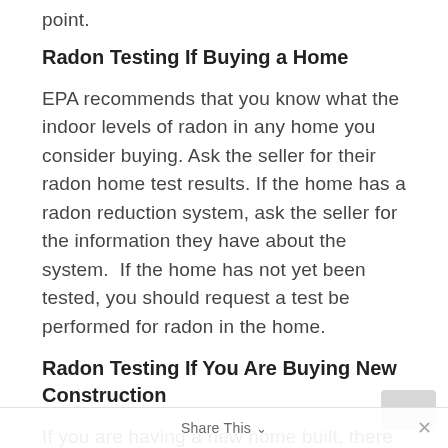point.
Radon Testing If Buying a Home
EPA recommends that you know what the indoor levels of radon in any home you consider buying. Ask the seller for their radon home test results. If the home has a radon reduction system, ask the seller for the information they have about the system.  If the home has not yet been tested, you should request a test be performed for radon in the home.
Radon Testing If You Are Buying New Construction
If you are having a new home built, there are features that can be incorporated during
Share This ∨  ×